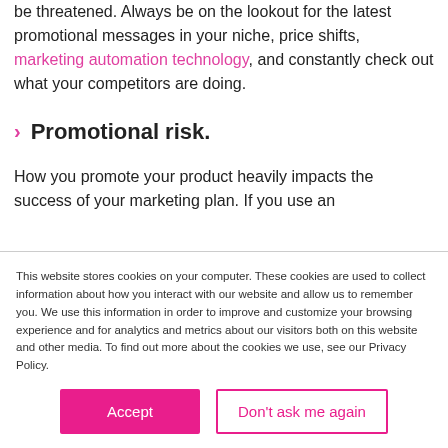be threatened. Always be on the lookout for the latest promotional messages in your niche, price shifts, marketing automation technology, and constantly check out what your competitors are doing.
Promotional risk.
How you promote your product heavily impacts the success of your marketing plan. If you use an
This website stores cookies on your computer. These cookies are used to collect information about how you interact with our website and allow us to remember you. We use this information in order to improve and customize your browsing experience and for analytics and metrics about our visitors both on this website and other media. To find out more about the cookies we use, see our Privacy Policy.